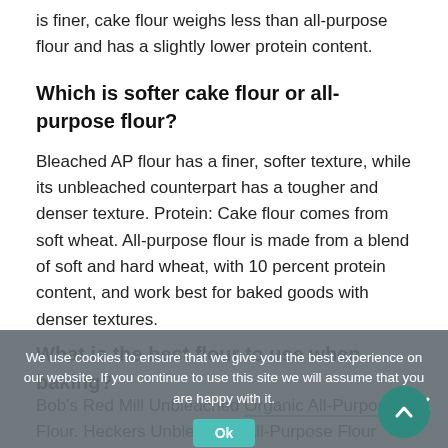is finer, cake flour weighs less than all-purpose flour and has a slightly lower protein content.
Which is softer cake flour or all-purpose flour?
Bleached AP flour has a finer, softer texture, while its unbleached counterpart has a tougher and denser texture. Protein: Cake flour comes from soft wheat. All-purpose flour is made from a blend of soft and hard wheat, with 10 percent protein content, and work best for baked goods with denser textures.
What is the best flour to use when baking?
Bob's Red Mill Unbleached Organic All-Purpose Flour. Heckers Unbleached All-Purpose Flour
We use cookies to ensure that we give you the best experience on our website. If you continue to use this site we will assume that you are happy with it.